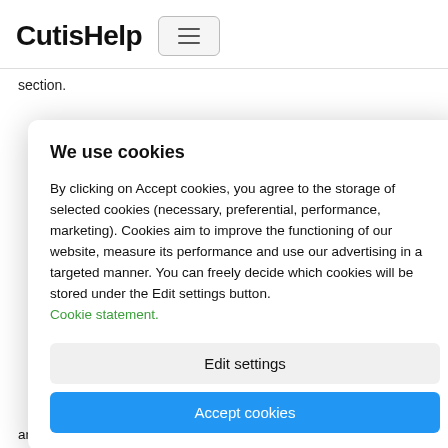CutisHelp
section.
We use cookies
By clicking on Accept cookies, you agree to the storage of selected cookies (necessary, preferential, performance, marketing). Cookies aim to improve the functioning of our website, measure its performance and use our advertising in a targeted manner. You can freely decide which cookies will be stored under the Edit settings button.
Cookie statement.
Edit settings
Accept cookies
and has a number of other important and absolutely natural